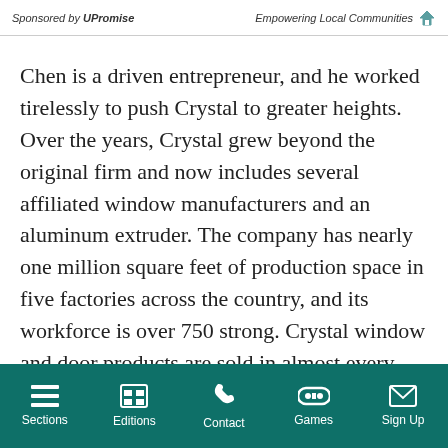Sponsored by UPromise    Empowering Local Communities
Chen is a driven entrepreneur, and he worked tirelessly to push Crystal to greater heights. Over the years, Crystal grew beyond the original firm and now includes several affiliated window manufacturers and an aluminum extruder. The company has nearly one million square feet of production space in five factories across the country, and its workforce is over 750 strong. Crystal window and door products are sold in almost every state and can be seen in construction projects ranging from small home improvement window replacements to skyscrapers and everything in between.
Sections  Editions  Contact  Games  Sign Up